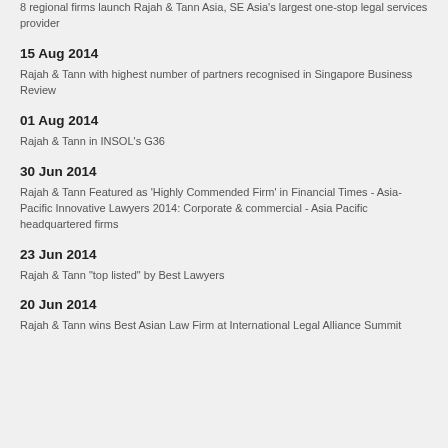8 regional firms launch Rajah & Tann Asia, SE Asia's largest one-stop legal services provider
15 Aug 2014
Rajah & Tann with highest number of partners recognised in Singapore Business Review
01 Aug 2014
Rajah & Tann in INSOL's G36
30 Jun 2014
Rajah & Tann Featured as 'Highly Commended Firm' in Financial Times - Asia-Pacific Innovative Lawyers 2014: Corporate & commercial - Asia Pacific headquartered firms
23 Jun 2014
Rajah & Tann "top listed" by Best Lawyers
20 Jun 2014
Rajah & Tann wins Best Asian Law Firm at International Legal Alliance Summit